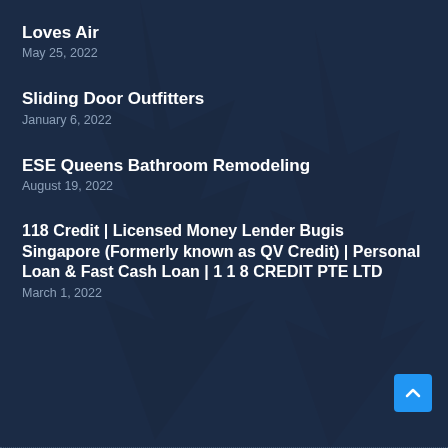Loves Air
May 25, 2022
Sliding Door Outfitters
January 6, 2022
ESE Queens Bathroom Remodeling
August 19, 2022
118 Credit | Licensed Money Lender Bugis Singapore (Formerly known as QV Credit) | Personal Loan & Fast Cash Loan | 1 1 8 CREDIT PTE LTD
March 1, 2022